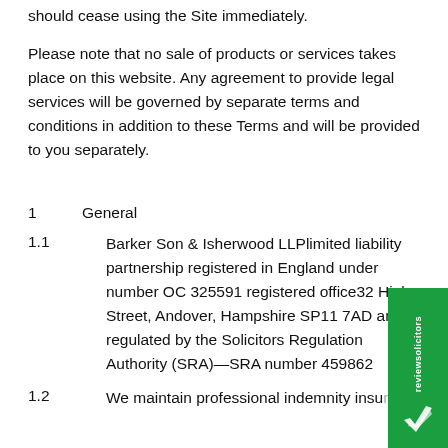should cease using the Site immediately.
Please note that no sale of products or services takes place on this website. Any agreement to provide legal services will be governed by separate terms and conditions in addition to these Terms and will be provided to you separately.
1    General
1.1    Barker Son & Isherwood LLPlimited liability partnership registered in England under number OC 325591 registered office32 High Street, Andover, Hampshire SP11 7AD and is regulated by the Solicitors Regulation Authority (SRA)—SRA number 459862
1.2    We maintain professional indemnity insurance